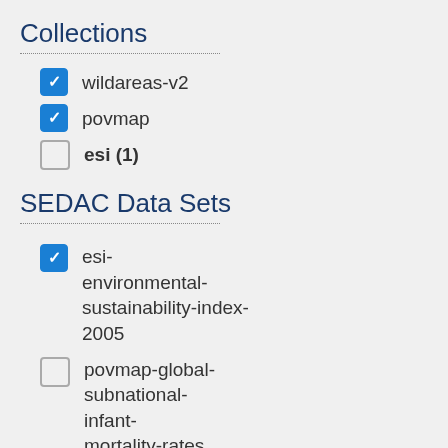Collections
wildareas-v2 [checked]
povmap [checked]
esi (1) [unchecked]
SEDAC Data Sets
esi-environmental-sustainability-index-2005 [checked]
povmap-global-subnational-infant-mortality-rates (2) [unchecked]
wildareas-v2-human-influence-index- [unchecked]